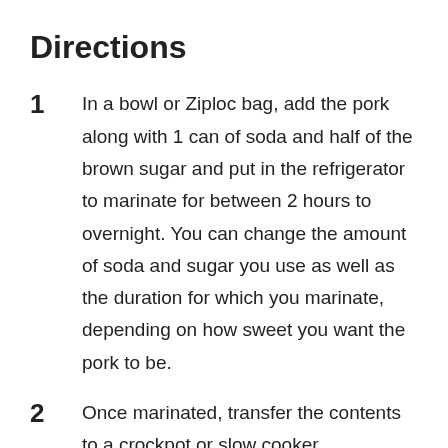Directions
1. In a bowl or Ziploc bag, add the pork along with 1 can of soda and half of the brown sugar and put in the refrigerator to marinate for between 2 hours to overnight. You can change the amount of soda and sugar you use as well as the duration for which you marinate, depending on how sweet you want the pork to be.
2. Once marinated, transfer the contents to a crockpot or slow cooker.
3. Add the garlic powder, onion powder, chili powder, salt, pepper, cumin powder, and the